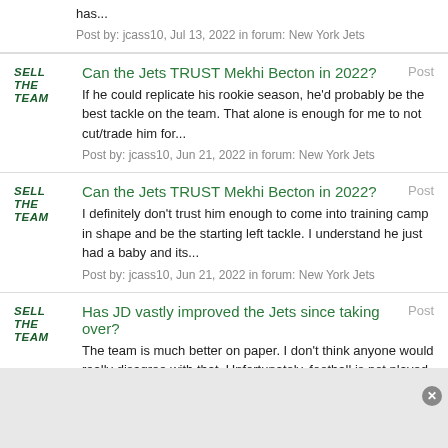has...
Post by: jcass10, Jul 13, 2022 in forum: New York Jets
Can the Jets TRUST Mekhi Becton in 2022?
If he could replicate his rookie season, he'd probably be the best tackle on the team. That alone is enough for me to not cut/trade him for...
Post by: jcass10, Jun 21, 2022 in forum: New York Jets
Can the Jets TRUST Mekhi Becton in 2022?
I definitely don't trust him enough to come into training camp in shape and be the starting left tackle. I understand he just had a baby and its...
Post by: jcass10, Jun 21, 2022 in forum: New York Jets
Has JD vastly improved the Jets since taking over?
The team is much better on paper. I don't think anyone would really disagree with that. Unfortunately, football is not played on